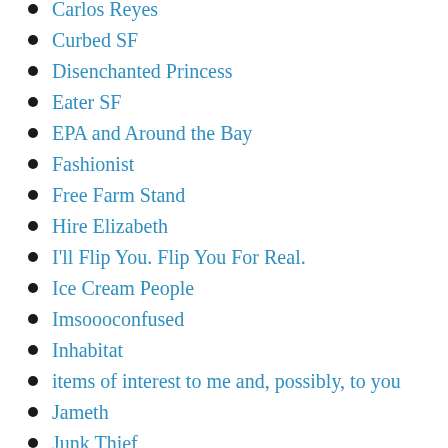Carlos Reyes
Curbed SF
Disenchanted Princess
Eater SF
EPA and Around the Bay
Fashionist
Free Farm Stand
Hire Elizabeth
I'll Flip You. Flip You For Real.
Ice Cream People
Imsoooconfused
Inhabitat
items of interest to me and, possibly, to you
Jameth
Junk Thief
Kevin Haas Photo